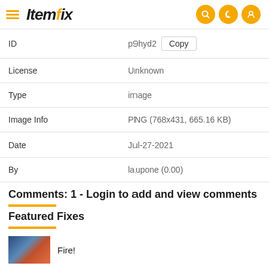Itemfix
| Field | Value |
| --- | --- |
| ID | p9hyd2 |
| License | Unknown |
| Type | image |
| Image Info | PNG (768x431, 665.16 KB) |
| Date | Jul-27-2021 |
| By | laupone (0.00) |
Comments: 1 - Login to add and view comments
Featured Fixes
Fire!